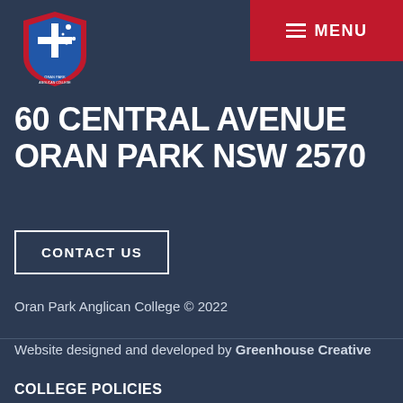[Figure (logo): Oran Park Anglican College shield logo with red border, blue background, white cross and stars]
MENU
60 CENTRAL AVENUE ORAN PARK NSW 2570
CONTACT US
Oran Park Anglican College © 2022
Website designed and developed by Greenhouse Creative
COLLEGE POLICIES